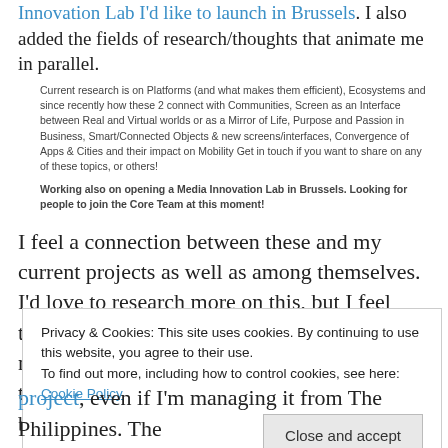Innovation Lab I'd like to launch in Brussels. I also added the fields of research/thoughts that animate me in parallel.
Current research is on Platforms (and what makes them efficient), Ecosystems and since recently how these 2 connect with Communities, Screen as an Interface between Real and Virtual worlds or as a Mirror of Life, Purpose and Passion in Business, Smart/Connected Objects & new screens/interfaces, Convergence of Apps & Cities and their impact on Mobility Get in touch if you want to share on any of these topics, or others!
Working also on opening a Media Innovation Lab in Brussels. Looking for people to join the Core Team at this moment!
I feel a connection between these and my current projects as well as among themselves. I'd love to research more on this, but I feel tired pushing my limits for more than 4 years now. I really feel the need of challenging my thoughts with other experts, of taking part into bigger
Privacy & Cookies: This site uses cookies. By continuing to use this website, you agree to their use.
To find out more, including how to control cookies, see here: Cookie Policy
Close and accept
project, even if I'm managing it from The Philippines. The